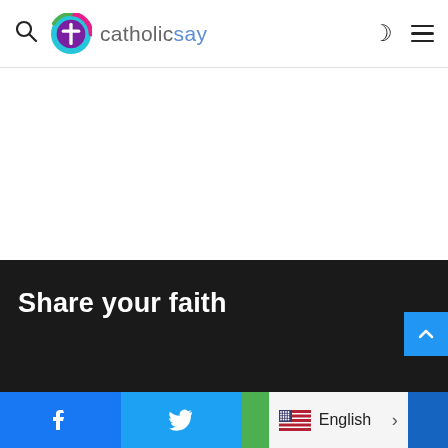catholicsay - navigation header with search, logo, dark mode, and menu icons
Share your faith
[Figure (logo): CatholicSay logo with circular icon containing a cross on purple background with teal/pink gradient ring, beside the text 'catholicsay']
Share your faith | Facebook | Twitter | English